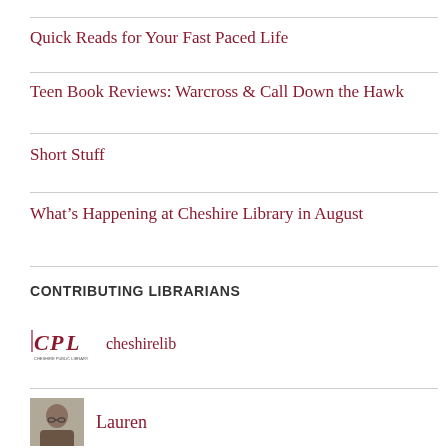Quick Reads for Your Fast Paced Life
Teen Book Reviews: Warcross & Call Down the Hawk
Short Stuff
What's Happening at Cheshire Library in August
CONTRIBUTING LIBRARIANS
cheshirelib
Lauren